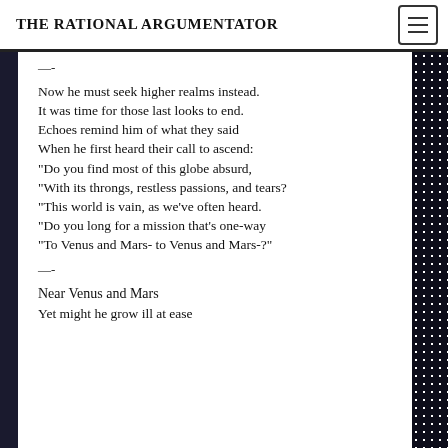THE RATIONAL ARGUMENTATOR
—-
Now he must seek higher realms instead.
It was time for those last looks to end.
Echoes remind him of what they said
When he first heard their call to ascend:
“Do you find most of this globe absurd,
“With its throngs, restless passions, and tears?
“This world is vain, as we’ve often heard.
“Do you long for a mission that’s one-way
“To Venus and Mars- to Venus and Mars-?”
—-
Near Venus and Mars
Yet might he grow ill at ease